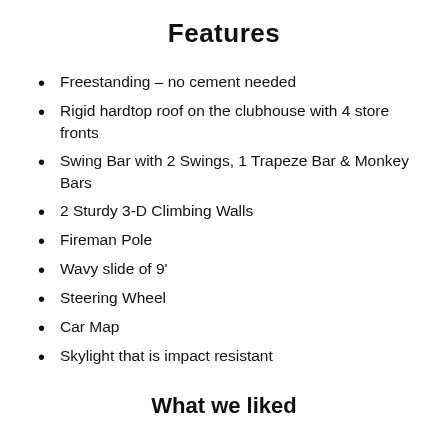Features
Freestanding – no cement needed
Rigid hardtop roof on the clubhouse with 4 store fronts
Swing Bar with 2 Swings, 1 Trapeze Bar & Monkey Bars
2 Sturdy 3-D Climbing Walls
Fireman Pole
Wavy slide of 9'
Steering Wheel
Car Map
Skylight that is impact resistant
What we liked